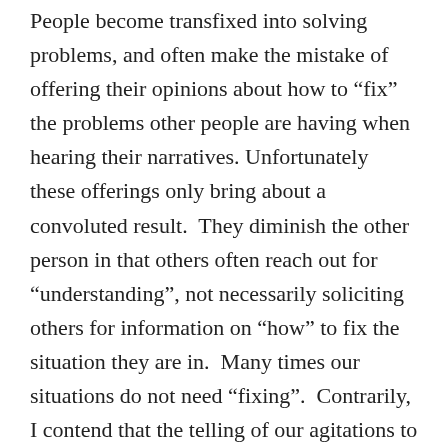People become transfixed into solving problems, and often make the mistake of offering their opinions about how to “fix” the problems other people are having when hearing their narratives. Unfortunately these offerings only bring about a convoluted result.  They diminish the other person in that others often reach out for “understanding”, not necessarily soliciting others for information on “how” to fix the situation they are in.  Many times our situations do not need “fixing”.  Contrarily, I contend that the telling of our agitations to others in the presence of being “understood” elevates the psyche with strong medicinal factors to those that are ailing from these vexations.  It is not that we are incapable, it is only that we need understanding and thus supported in the process of listening over hearing any opinions on what the solutions may be